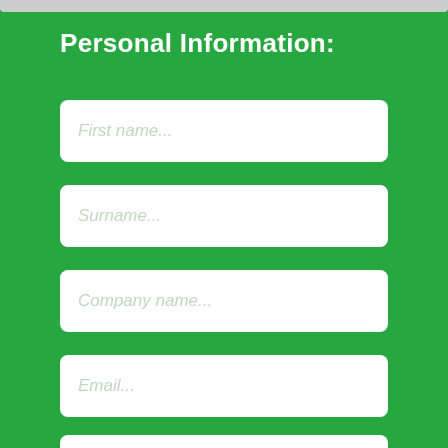Personal Information:
First name...
Surname...
Company name...
Email...
[Figure (other): Country phone code selector with South Africa flag and dropdown arrow]
+27
Contact number...